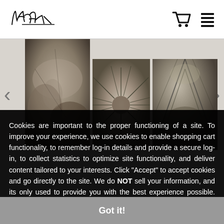Kapat logo with shopping cart and list icons
[Figure (photo): Gallery of three black and white botanical/nature photographs with left and right navigation arrows]
Cookies are important to the proper functioning of a site. To improve your experience, we use cookies to enable shopping cart functionality, to remember log-in details and provide a secure log-in, to collect statistics to optimize site functionality, and deliver content tailored to your interests. Click "Accept" to accept cookies and go directly to the site. We do NOT sell your information, and its only used to provide you with the best experience possible. Thank you.
Got it!